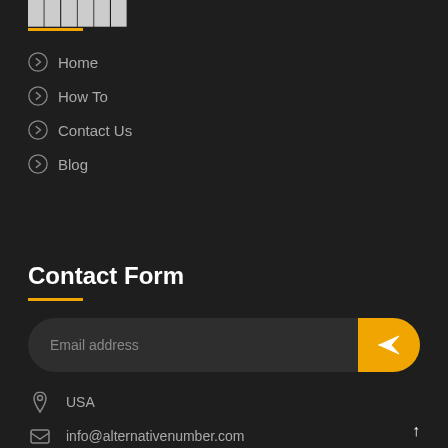Home
How To
Contact Us
Blog
Contact Form
[Figure (other): Email address input field with a yellow send button showing a paper plane icon]
USA
info@alternativenumber.com